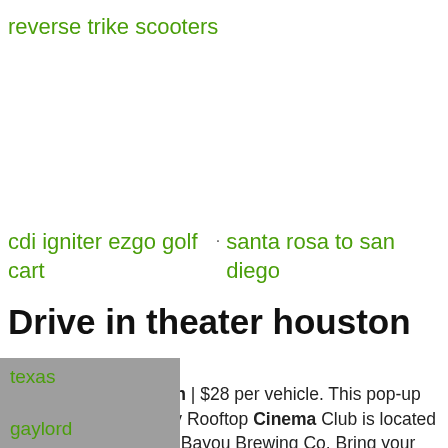reverse trike scooters
cdi igniter ezgo golf cart
santa rosa to san diego
Drive in theater houston
2020. 5. 14. · Houston | $28 per vehicle. This pop-up drive-in theater run by Rooftop Cinema Club is located in a lot behind Buffalo Bayou Brewing Co. Bring your own concessions, snap concessions from Rooftop
texas
gaylord